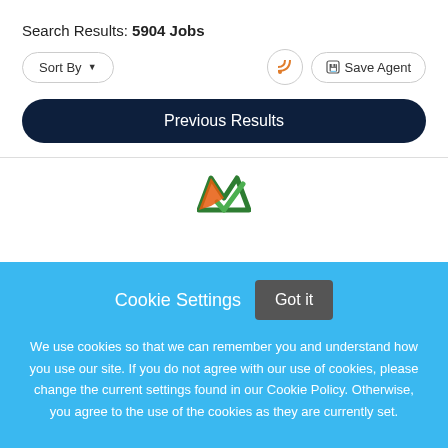Search Results: 5904 Jobs
Sort By ▾
Save Agent
Previous Results
Cookie Settings
Got it
We use cookies so that we can remember you and understand how you use our site. If you do not agree with our use of cookies, please change the current settings found in our Cookie Policy. Otherwise, you agree to the use of the cookies as they are currently set.